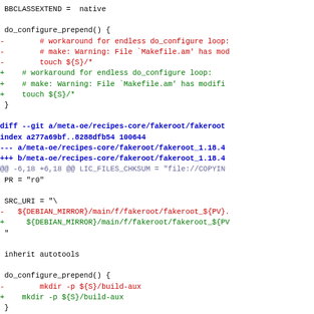BBCLASSEXTEND = 'native'

do_configure_prepend() {
-        # workaround for endless do_configure loop:
-        # make: Warning: File `Makefile.am' has mod
-        touch ${S}/*
+    # workaround for endless do_configure loop:
+    # make: Warning: File `Makefile.am' has modifi
+    touch ${S}/*
 }

diff --git a/meta-oe/recipes-core/fakeroot/fakeroot
index a277a69bf..8288dfb54 100644
--- a/meta-oe/recipes-core/fakeroot/fakeroot_1.18.4
+++ b/meta-oe/recipes-core/fakeroot/fakeroot_1.18.4
@@ -6,18 +6,18 @@ LIC_FILES_CHKSUM = "file://COPYIN
 PR = "r0"

 SRC_URI = "\
-   ${DEBIAN_MIRROR}/main/f/fakeroot/fakeroot_${PV}.
+     ${DEBIAN_MIRROR}/main/f/fakeroot/fakeroot_${PV
 "

 inherit autotools

do_configure_prepend() {
-        mkdir -p ${S}/build-aux
+    mkdir -p ${S}/build-aux
 }

do_install_append() {